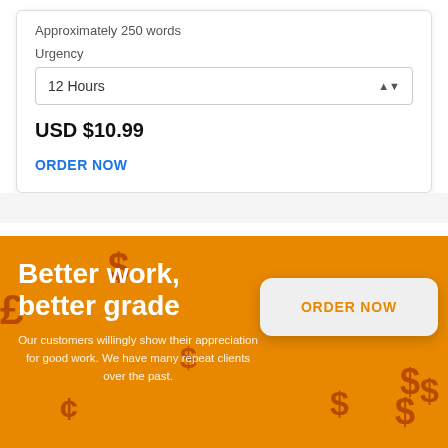Approximately 250 words
Urgency
12 Hours
USD $10.99
ORDER NOW
Better work, better grade
Our customers willingly show their appreciation for good work. We have many repeat clients over the past.
ORDER NOW